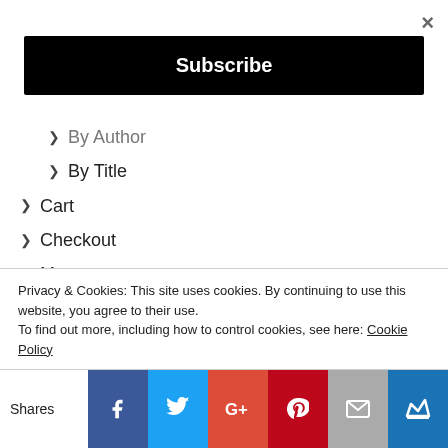×
Subscribe
> By Author
> By Title
> Cart
> Checkout
> My account
> Shop
> Solutions
> Strengths Assessment Tests
> Submit Your Post!
> What's New With Us?
> Write For Us
Privacy & Cookies: This site uses cookies. By continuing to use this website, you agree to their use. To find out more, including how to control cookies, see here: Cookie Policy
Shares